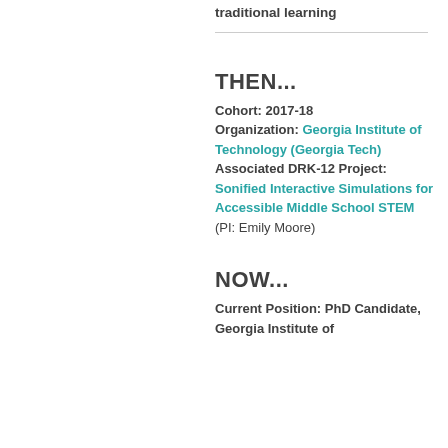traditional learning
THEN...
Cohort: 2017-18
Organization: Georgia Institute of Technology (Georgia Tech)
Associated DRK-12 Project: Sonified Interactive Simulations for Accessible Middle School STEM (PI: Emily Moore)
NOW...
Current Position: PhD Candidate, Georgia Institute of